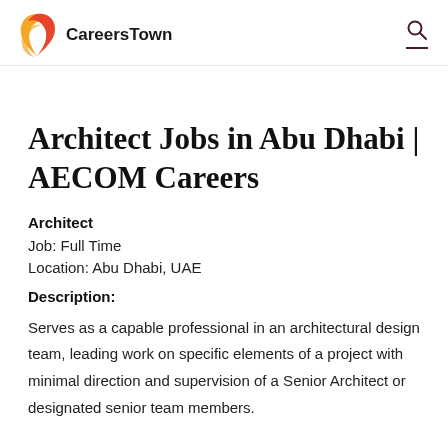CareersTown
Architect Jobs in Abu Dhabi | AECOM Careers
Architect
Job: Full Time
Location: Abu Dhabi, UAE
Description:
Serves as a capable professional in an architectural design team, leading work on specific elements of a project with minimal direction and supervision of a Senior Architect or designated senior team members.